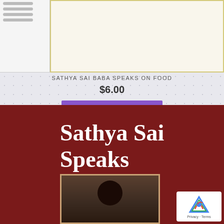[Figure (photo): Book thumbnail strip on left side with spiral binding lines, and a cream/gold-bordered book preview on right]
SATHYA SAI BABA SPEAKS ON FOOD
$6.00
ADD TO CART
[Figure (photo): Book cover with dark red background showing 'Sathya Sai Speaks' in large white serif font and a black-and-white photo of Sathya Sai Baba at the bottom]
Privacy · Terms